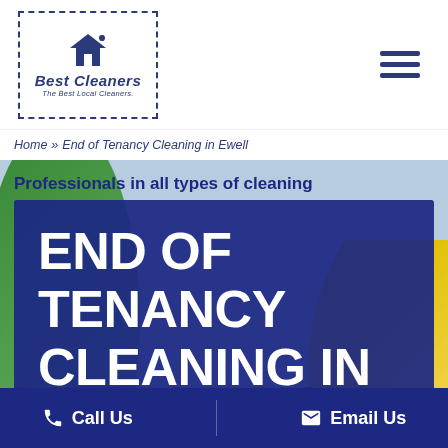[Figure (logo): Best Cleaners logo with dashed border, house icon, italic text 'Best Cleaners' and tagline 'The Best Local Cleaners']
Home » End of Tenancy Cleaning in Ewell
Professionals in all types of cleaning
END OF TENANCY CLEANING IN EWELL
One of the few Cleaning Service providers in Ewell to have so much faith in our tenancy cleaning that
Call Us   Email Us